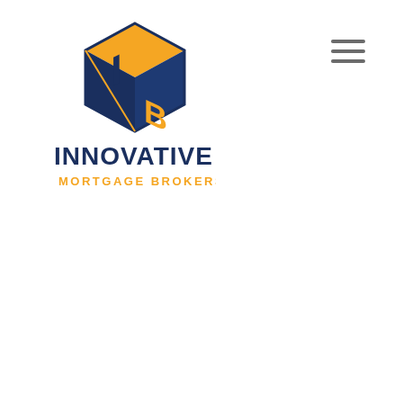[Figure (logo): Innovative Mortgage Brokers logo: a hexagonal box icon with orange and navy blue coloring containing stylized letters IMB, with the company name INNOVATIVE in bold navy below and MORTGAGE BROKERS in orange smaller text.]
[Figure (other): Hamburger menu icon: three horizontal grey lines stacked vertically, top-right corner of page.]